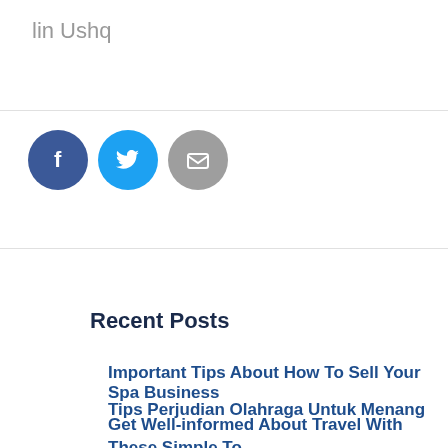lin Ushq
[Figure (illustration): Three social share buttons: Facebook (dark blue circle with 'f'), Twitter (light blue circle with bird icon), Email (gray circle with envelope icon)]
Recent Posts
Important Tips About How To Sell Your Spa Business
Tips Perjudian Olahraga Untuk Menang
Get Well-informed About Travel With These Simple To Adhere to Recommendations
Your Girls Will Love The Lucchese Kids Cowboy Boots